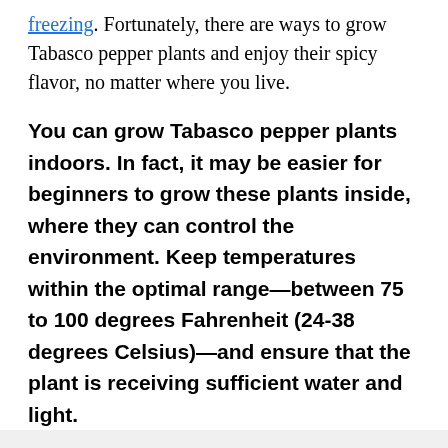freezing. Fortunately, there are ways to grow Tabasco pepper plants and enjoy their spicy flavor, no matter where you live.
You can grow Tabasco pepper plants indoors. In fact, it may be easier for beginners to grow these plants inside, where they can control the environment. Keep temperatures within the optimal range—between 75 to 100 degrees Fahrenheit (24-38 degrees Celsius)—and ensure that the plant is receiving sufficient water and light.
Potting Indoor Tabasco Peppers
When growing Tabasco peppers indoors, start the